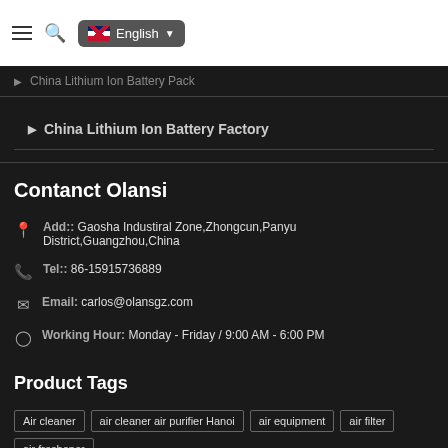English language selector and navigation menu
China Lithium Ion Battery Factory
Contanct Olansi
Add:: Gaosha Industiral Zone,Zhongcun,Panyu District,Guangzhou,China
Tel:: 86-15915736889
Email: carlos@olansgz.com
Working Hour: Monday - Friday / 9:00 AM - 6:00 PM
Product Tags
Air cleaner
air cleaner air purifier Hanoi
air equipment
air filter
air freshener
Air purifier
air purifier china
air purifier for car
air purifier for home